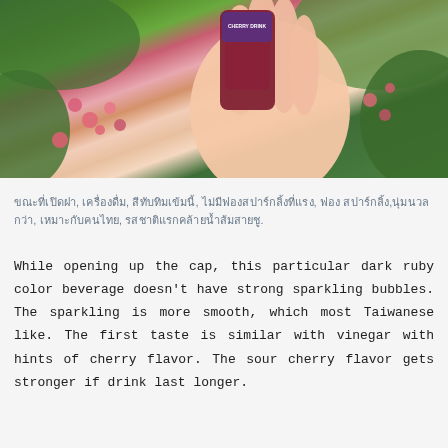[Figure (photo): A hand holding a dark ruby colored beverage bottle/pouch against a background of green leaves and pink flowers]
ขณะที่เปิดฝา, เครื่องดื่ม, สีทับทิมเข้มนี้, ไม่มีฟองสปาร์กลิ้งที่แรง, ฟอง สปาร์กลิ้ง,นุ่มนวลกว่า, เหมาะกับคนไทย, รสชาติแรกคล้ายน้ำส้มสายชู.
While opening up the cap, this particular dark ruby color beverage doesn't have strong sparkling bubbles. The sparkling is more smooth, which most Taiwanese like. The first taste is similar with vinegar with hints of cherry flavor. The sour cherry flavor gets stronger if drink last longer.